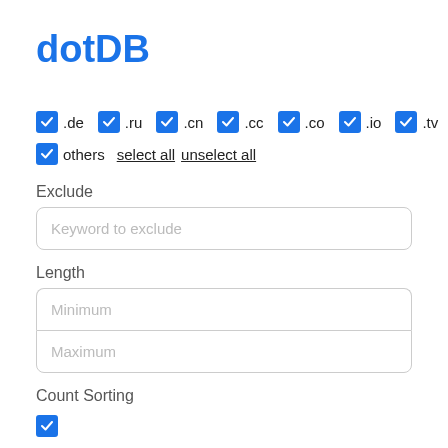dotDB
☑ .de  ☑ .ru  ☑ .cn  ☑ .cc  ☑ .co  ☑ .io  ☑ .tv
☑ others  select all  unselect all
Exclude
Keyword to exclude
Length
Minimum
Maximum
Count Sorting
[Figure (other): Checked blue checkbox at bottom]